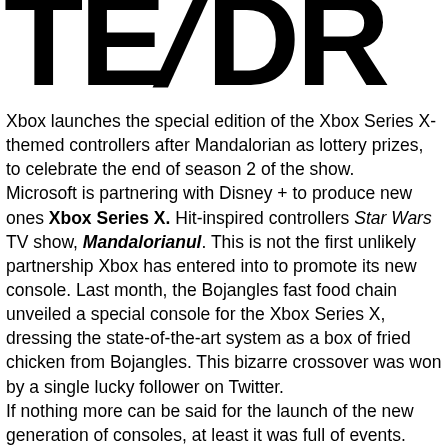TE/DR
Xbox launches the special edition of the Xbox Series X-themed controllers after Mandalorian as lottery prizes, to celebrate the end of season 2 of the show.
Microsoft is partnering with Disney + to produce new ones Xbox Series X. Hit-inspired controllers Star Wars TV show, Mandalorianul. This is not the first unlikely partnership Xbox has entered into to promote its new console. Last month, the Bojangles fast food chain unveiled a special console for the Xbox Series X, dressing the state-of-the-art system as a box of fried chicken from Bojangles. This bizarre crossover was won by a single lucky follower on Twitter.
If nothing more can be said for the launch of the new generation of consoles, at least it was full of events. Both the X Series and its competitor, the PlayStation 5, were launched in November with great fanfare and sold out immediately. The COVID-19 pandemic has a great influence on the production of consoles, and the demand is, in a word, greedy. Scalpers used robots to penetrate and pick up hundreds of consoles before